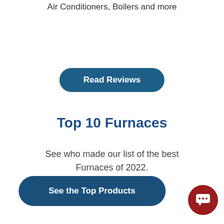Air Conditioners, Boilers and more
Read Reviews
Top 10 Furnaces
See who made our list of the best Furnaces of 2022.
See the Top Products